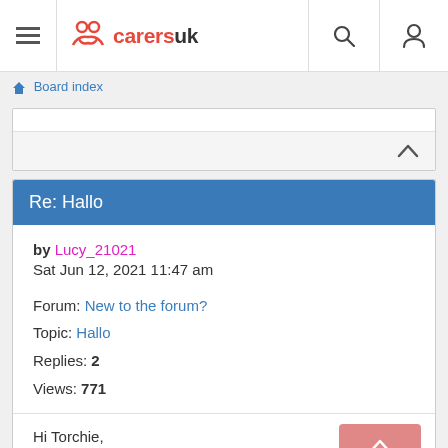carersuk — Board index
Re: Hallo
by Lucy_21021
Sat Jun 12, 2021 11:47 am

Forum: New to the forum?
Topic: Hallo
Replies: 2
Views: 771
Hi Torchie,